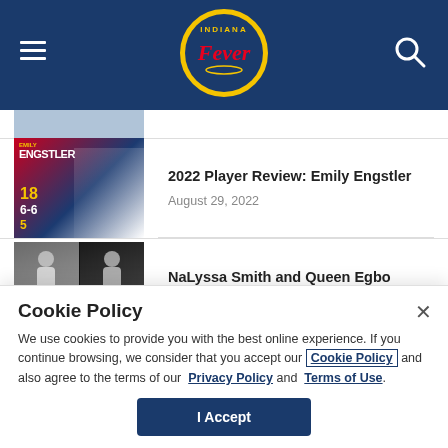[Figure (screenshot): Indiana Fever website header with navy blue background, hamburger menu icon on left, Indiana Fever logo in center, search icon on right]
[Figure (photo): Partially visible article thumbnail at top of content area]
[Figure (photo): Emily Engstler player review graphic showing stats: 18, 6-6, 5 on navy/red background]
2022 Player Review: Emily Engstler
August 29, 2022
[Figure (photo): Side-by-side photos of NaLyssa Smith and Queen Egbo basketball players]
NaLyssa Smith and Queen Egbo Named to WNBA All-Rookie Team
Cookie Policy
We use cookies to provide you with the best online experience. If you continue browsing, we consider that you accept our Cookie Policy and also agree to the terms of our Privacy Policy and Terms of Use.
I Accept